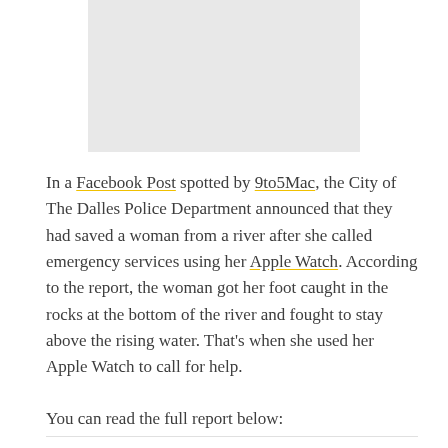[Figure (photo): Gray placeholder image area at the top of the page]
In a Facebook Post spotted by 9to5Mac, the City of The Dalles Police Department announced that they had saved a woman from a river after she called emergency services using her Apple Watch. According to the report, the woman got her foot caught in the rocks at the bottom of the river and fought to stay above the rising water. That's when she used her Apple Watch to call for help.
You can read the full report below: